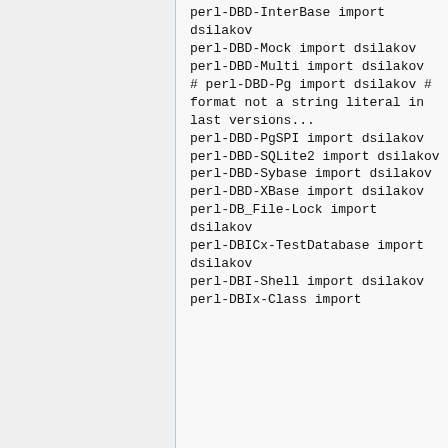perl-DBD-InterBase import dsilakov
perl-DBD-Mock import dsilakov
perl-DBD-Multi import dsilakov
# perl-DBD-Pg import dsilakov # format not a string literal in last versions...
perl-DBD-PgSPI import dsilakov
perl-DBD-SQLite2 import dsilakov
perl-DBD-Sybase import dsilakov
perl-DBD-XBase import dsilakov
perl-DB_File-Lock import dsilakov
perl-DBICx-TestDatabase import dsilakov
perl-DBI-Shell import dsilakov
perl-DBIx-Class import